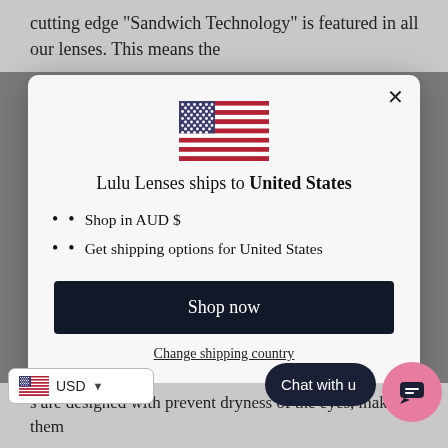cutting edge "Sandwich Technology" is featured in all our lenses. This means the
[Figure (illustration): A modal dialog box displayed over a webpage background. Contains a US flag icon, shipping destination text, bullet list, shop now button, and change shipping country link.]
Lulu Lenses ships to United States
Shop in AUD $
Get shipping options for United States
Shop now
Change shipping country
USD
s are designed with prevent dryness of the eyes, making them